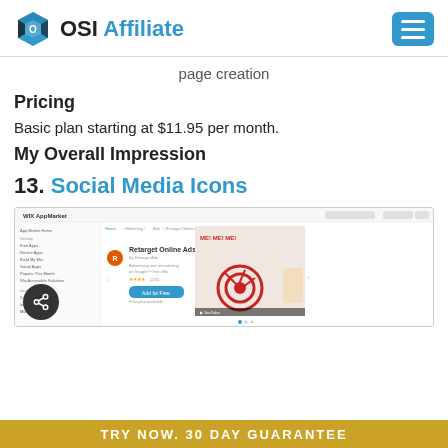OSI Affiliate
page creation
Pricing
Basic plan starting at $11.95 per month.
My Overall Impression
13. Social Media Icons
[Figure (screenshot): Screenshot of WIX AppMarket page showing Retarget Online Ads app listing with a video thumbnail showing ME! ME! ME! animated graphic with target/arrows imagery]
TRY NOW. 30 DAY GUARANTEE